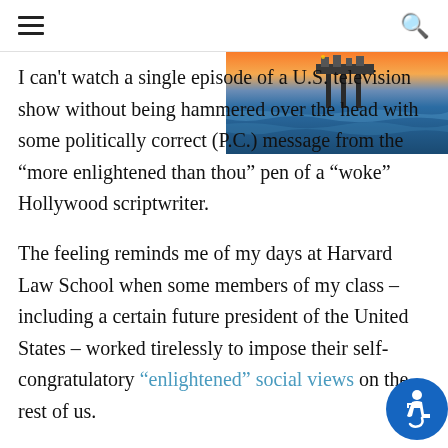≡  🔍
[Figure (photo): Offshore oil platform at sunset with orange sky and blue ocean waves]
I can't watch a single episode of a U.S. television show without being hammered over the head with some politically correct (P.C.) message from the "more enlightened than thou" pen of a "woke" Hollywood scriptwriter.

The feeling reminds me of my days at Harvard Law School when some members of my class – including a certain future president of the United States – worked tirelessly to impose their self-congratulatory "enlightened" social views on the rest of us.